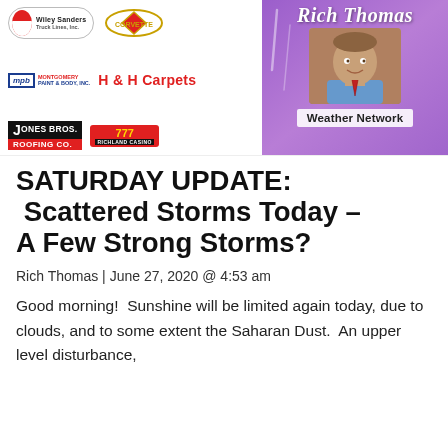[Figure (logo): Header banner with multiple sponsor logos (Wiley Sanders Truck Lines, Corvette logo, Montgomery Paint & Body MPB, H & H Carpets, Jones Bros Roofing Co., 777 Richland Casino) and Rich Thomas Weather Network panel with photo]
SATURDAY UPDATE: Scattered Storms Today – A Few Strong Storms?
Rich Thomas | June 27, 2020 @ 4:53 am
Good morning!  Sunshine will be limited again today, due to clouds, and to some extent the Saharan Dust.  An upper level disturbance,